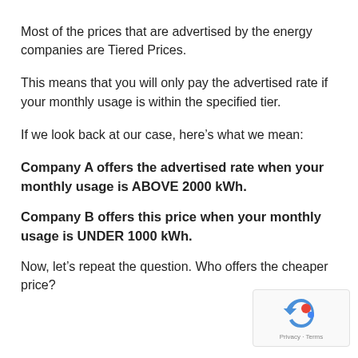Most of the prices that are advertised by the energy companies are Tiered Prices.
This means that you will only pay the advertised rate if your monthly usage is within the specified tier.
If we look back at our case, here’s what we mean:
Company A offers the advertised rate when your monthly usage is ABOVE 2000 kWh.
Company B offers this price when your monthly usage is UNDER 1000 kWh.
Now, let’s repeat the question. Who offers the cheaper price?